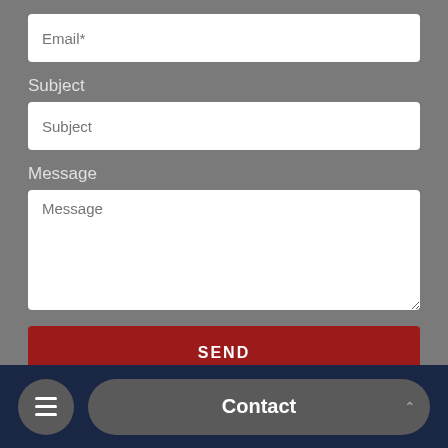Email*
Subject
Subject
Message
Message
SEND
Contact